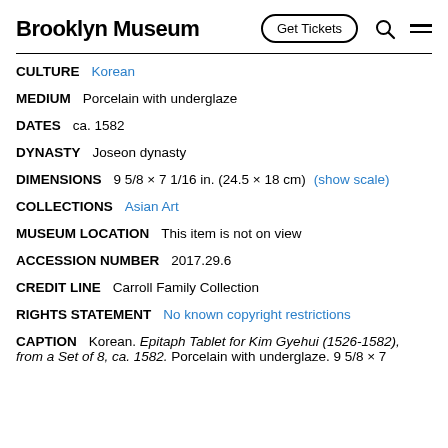Brooklyn Museum | Get Tickets
CULTURE  Korean
MEDIUM  Porcelain with underglaze
DATES  ca. 1582
DYNASTY  Joseon dynasty
DIMENSIONS  9 5/8 × 7 1/16 in. (24.5 × 18 cm)  (show scale)
COLLECTIONS  Asian Art
MUSEUM LOCATION  This item is not on view
ACCESSION NUMBER  2017.29.6
CREDIT LINE  Carroll Family Collection
RIGHTS STATEMENT  No known copyright restrictions
CAPTION  Korean. Epitaph Tablet for Kim Gyehui (1526-1582), from a Set of 8, ca. 1582. Porcelain with underglaze. 9 5/8 × 7...